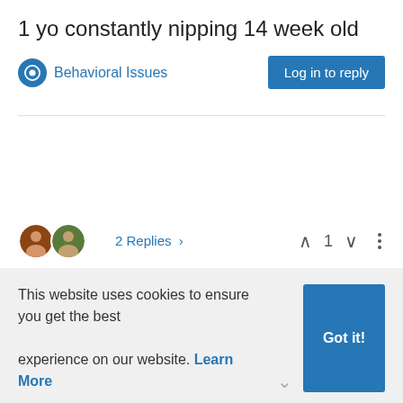1 yo constantly nipping 14 week old
Behavioral Issues
Log in to reply
2 Replies >
1
This website uses cookies to ensure you get the best experience on our website. Learn More
Got it!